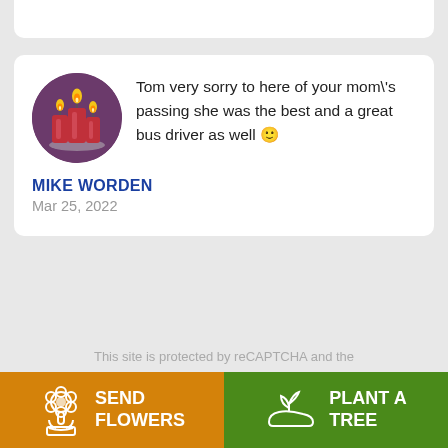Tom very sorry to here of your mom\'s passing she was the best and a great bus driver as well 🙂
MIKE WORDEN
Mar 25, 2022
This site is protected by reCAPTCHA and the
SEND FLOWERS
PLANT A TREE